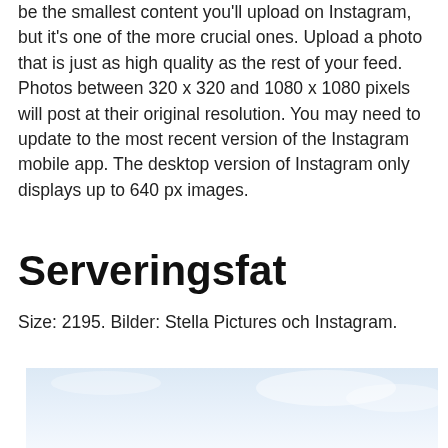be the smallest content you'll upload on Instagram, but it's one of the more crucial ones. Upload a photo that is just as high quality as the rest of your feed. Photos between 320 x 320 and 1080 x 1080 pixels will post at their original resolution. You may need to update to the most recent version of the Instagram mobile app. The desktop version of Instagram only displays up to 640 px images.
Serveringsfat
Size: 2195. Bilder: Stella Pictures och Instagram.
[Figure (photo): A light blue sky photograph, partially visible at the bottom of the page]